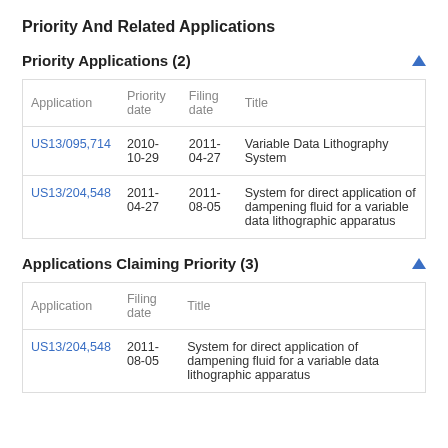Priority And Related Applications
Priority Applications (2)
| Application | Priority date | Filing date | Title |
| --- | --- | --- | --- |
| US13/095,714 | 2010-10-29 | 2011-04-27 | Variable Data Lithography System |
| US13/204,548 | 2011-04-27 | 2011-08-05 | System for direct application of dampening fluid for a variable data lithographic apparatus |
Applications Claiming Priority (3)
| Application | Filing date | Title |
| --- | --- | --- |
| US13/204,548 | 2011-08-05 | System for direct application of dampening fluid for a variable data lithographic apparatus |